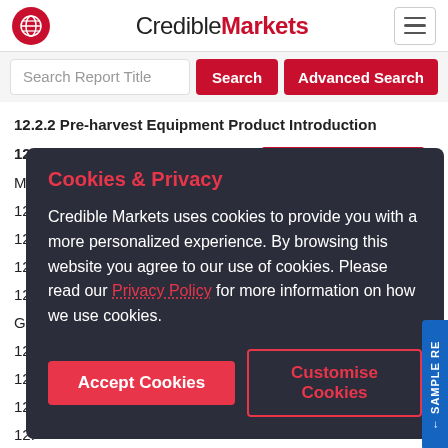Credible Markets
Search Report Title
12.2.2 Pre-harvest Equipment Product Introduction
12.2.3 Exel Industries Production, [Price, Sales]
12.
12.
12.
12.
Gro
12.
12.
12.
12.
Ma
12.5 The Toro Company
Cookies & Privacy

Credible Markets uses cookies to provide you with a more personalized experience. By browsing this website you agree to our use of cookies. Please read our Privacy Policy for more information on how we use cookies.
Accept Cookies
Customise Cookies